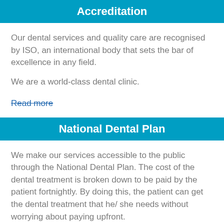Accreditation
Our dental services and quality care are recognised by ISO, an international body that sets the bar of excellence in any field.
We are a world-class dental clinic.
Read more
National Dental Plan
We make our services accessible to the public through the National Dental Plan. The cost of the dental treatment is broken down to be paid by the patient fortnightly. By doing this, the patient can get the dental treatment that he/ she needs without worrying about paying upfront.
Read more